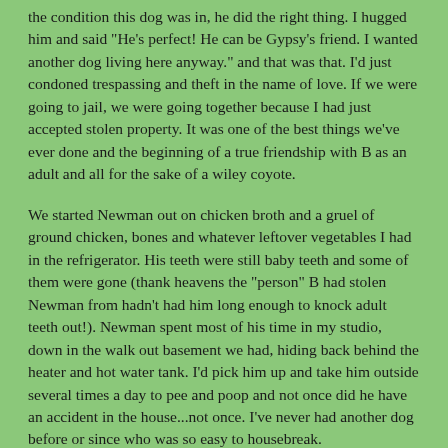the condition this dog was in, he did the right thing. I hugged him and said "He's perfect! He can be Gypsy's friend. I wanted another dog living here anyway." and that was that. I'd just condoned trespassing and theft in the name of love. If we were going to jail, we were going together because I had just accepted stolen property. It was one of the best things we've ever done and the beginning of a true friendship with B as an adult and all for the sake of a wiley coyote.
We started Newman out on chicken broth and a gruel of ground chicken, bones and whatever leftover vegetables I had in the refrigerator. His teeth were still baby teeth and some of them were gone (thank heavens the "person" B had stolen Newman from hadn't had him long enough to knock adult teeth out!). Newman spent most of his time in my studio, down in the walk out basement we had, hiding back behind the heater and hot water tank. I'd pick him up and take him outside several times a day to pee and poop and not once did he have an accident in the house...not once. I've never had another dog before or since who was so easy to housebreak.
When I was sure he was strong enough to ride in the car with me